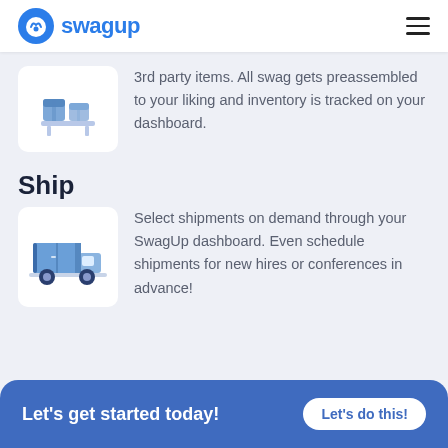swagup
3rd party items. All swag gets preassembled to your liking and inventory is tracked on your dashboard.
Ship
[Figure (illustration): Illustration of a blue delivery truck icon on a white rounded square background]
Select shipments on demand through your SwagUp dashboard. Even schedule shipments for new hires or conferences in advance!
Let's get started today!